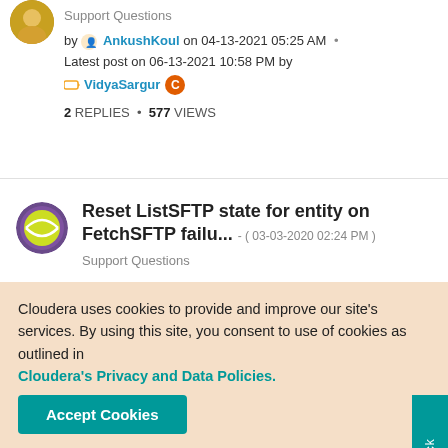Support Questions
by AnkushKoul on 04-13-2021 05:25 AM
Latest post on 06-13-2021 10:58 PM by VidyaSargur
2 REPLIES * 577 VIEWS
Reset ListSFTP state for entity on FetchSFTP failu... - ( 03-03-2020 02:24 PM )
Support Questions
Cloudera uses cookies to provide and improve our site's services. By using this site, you consent to use of cookies as outlined in Cloudera's Privacy and Data Policies.
Accept Cookies